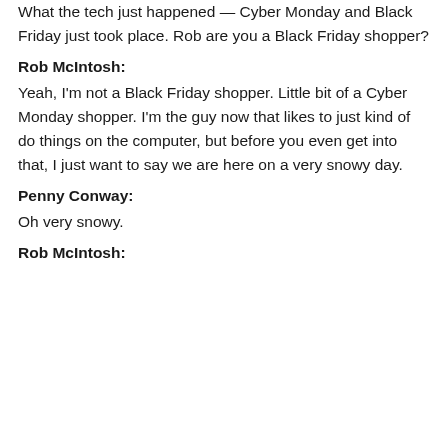What the tech just happened — Cyber Monday and Black Friday just took place. Rob are you a Black Friday shopper?
Rob McIntosh:
Yeah, I'm not a Black Friday shopper. Little bit of a Cyber Monday shopper. I'm the guy now that likes to just kind of do things on the computer, but before you even get into that, I just want to say we are here on a very snowy day.
Penny Conway:
Oh very snowy.
Rob McIntosh: